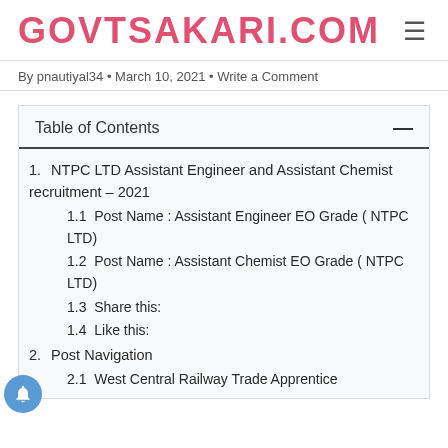GOVTSAKARI.COM
By pnautiyal34 · March 10, 2021 · Write a Comment
Table of Contents
1.  NTPC LTD Assistant Engineer and Assistant Chemist recruitment – 2021
1.1  Post Name : Assistant Engineer EO Grade ( NTPC LTD)
1.2  Post Name : Assistant Chemist EO Grade ( NTPC LTD)
1.3  Share this:
1.4  Like this:
2.  Post Navigation
2.1  West Central Railway Trade Apprentice